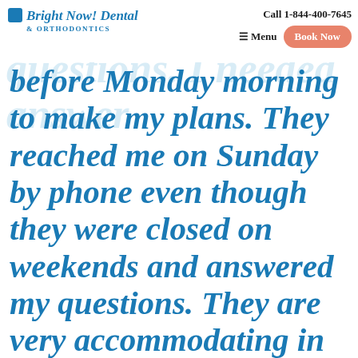Bright Now! Dental & Orthodontics | Call 1-844-400-7645 | Menu | Book Now
and asked them some questions. I needed answers before Monday morning to make my plans. They reached me on Sunday by phone even though they were closed on weekends and answered my questions. They are very accommodating in